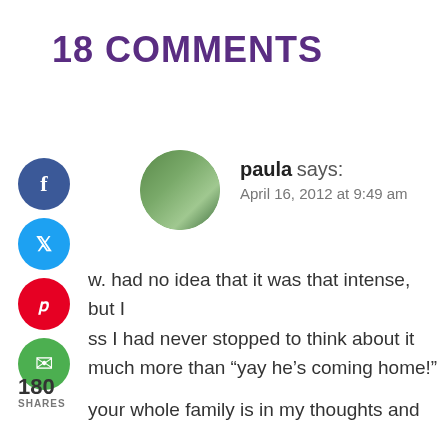18 COMMENTS
paula says:
April 16, 2012 at 9:49 am
w. had no idea that it was that intense, but I ss I had never stopped to think about it much more than “yay he’s coming home!” your whole family is in my thoughts and prayers! <3 and I’m here if you ever need to talk!!! 😀